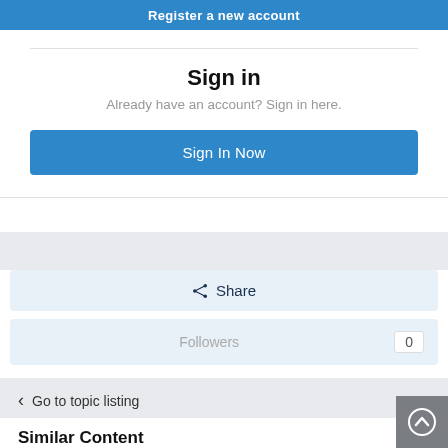Register a new account
Sign in
Already have an account? Sign in here.
Sign In Now
Share
Followers  0
< Go to topic listing
Similar Content